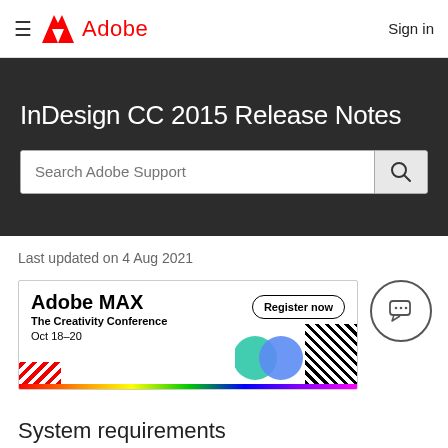Adobe — Sign in
InDesign CC 2015 Release Notes
Last updated on 4 Aug 2021
[Figure (other): Adobe MAX – The Creativity Conference banner with Register now button, Oct 18–20 dates, colorful graphic elements and rainbow bar]
System requirements